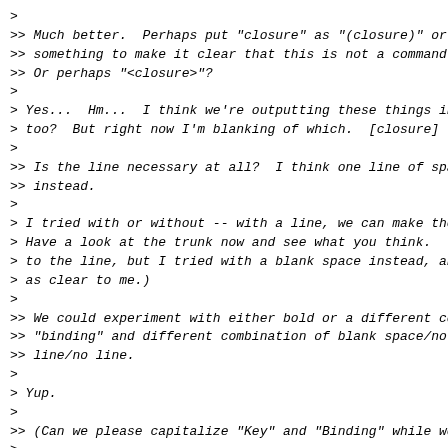>
>> Much better.  Perhaps put "closure" as "(closure)" or
>> something to make it clear that this is not a command
>> Or perhaps "<closure>"?
>
> Yes...  Hm...  I think we're outputting these things in
> too?  But right now I'm blanking of which.  [closure] .
>
>> Is the line necessary at all?  I think one line of spa
>> instead.
>
> I tried with or without -- with a line, we can make the
> Have a look at the trunk now and see what you think.  (
> to the line, but I tried with a blank space instead, an
> as clear to me.)
>
>> We could experiment with either bold or a different co
>> "binding" and different combination of blank space/no
>> line/no line.
>
> Yup.
>
>> (Can we please capitalize "Key" and "Binding" while we
>
> Yeah, that is pretty unusual for Emacs to not capitalis
> I'll change it.

--

Thanks,